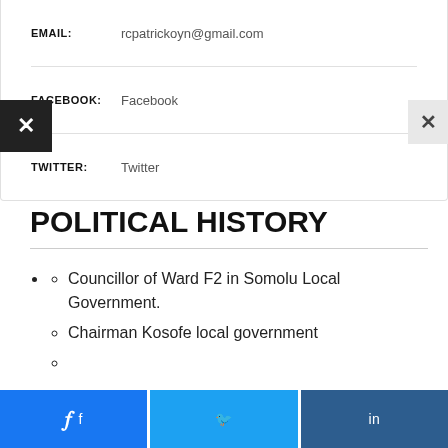| Field | Value |
| --- | --- |
| EMAIL: | rcpatrickoyn@gmail.com |
| FACEBOOK: | Facebook |
| TWITTER: | Twitter |
POLITICAL HISTORY
Councillor of Ward F2 in Somolu Local Government.
Chairman Kosofe local government